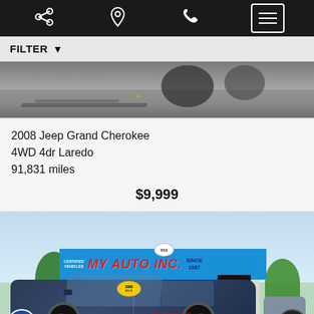[Figure (screenshot): Mobile app top navigation bar with share, location, phone, and menu icons on black background]
FILTER
[Figure (photo): Cropped bottom portion of a Jeep vehicle showing wheels on pavement]
2008 Jeep Grand Cherokee
4WD 4dr Laredo
91,831 miles
$9,999
[Figure (photo): My Auto Inc. car dealership exterior with blue sign, dark blue Jeep Grand Cherokee in foreground, trees, and open sign visible]